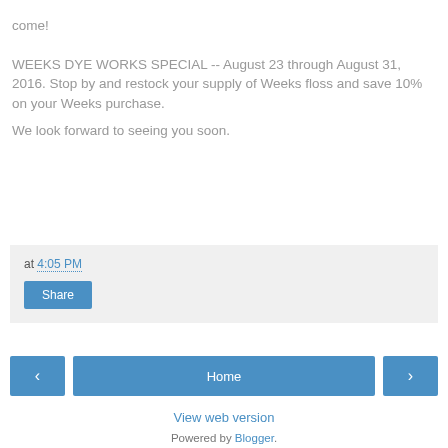…ollection Show. We predict many fun things to come!
WEEKS DYE WORKS SPECIAL -- August 23 through August 31, 2016. Stop by and restock your supply of Weeks floss and save 10% on your Weeks purchase.
We look forward to seeing you soon.
at 4:05 PM
Share
Home
View web version
Powered by Blogger.